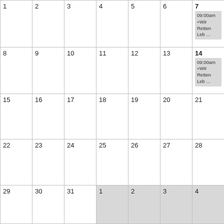| 1 | 2 | 3 | 4 | 5 | 6 | 7
09:00am «Wir Retten Leb ... |
| 8 | 9 | 10 | 11 | 12 | 13 | 14
09:00am «Wir Retten Leb ... |
| 15 | 16 | 17 | 18 | 19 | 20 | 21 |
| 22 | 23 | 24 | 25 | 26 | 27 | 28 |
| 29 | 30 | 31 | 1 | 2 | 3 | 4 |